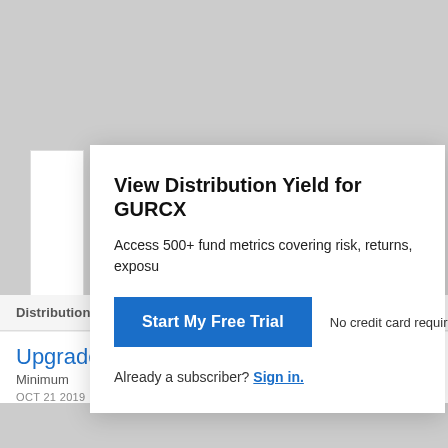View Distribution Yield for GURCX
Access 500+ fund metrics covering risk, returns, exposu
Start My Free Trial
No credit card required.
Already a subscriber? Sign in.
Distribution Yield Range, Past 5 Years
Upgrade
Minimum
OCT 21 2019
Upgrade
Maximum
MAR 23 2020